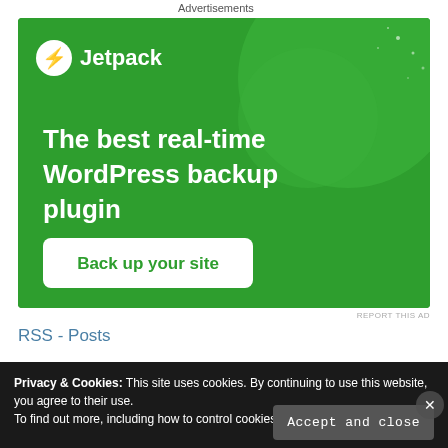Advertisements
[Figure (screenshot): Jetpack advertisement banner with green background showing logo, tagline 'The best real-time WordPress backup plugin' and a 'Back up your site' button]
REPORT THIS AD
RSS - Posts
Privacy & Cookies: This site uses cookies. By continuing to use this website, you agree to their use. To find out more, including how to control cookies, see here: Cookies policy
Accept and close